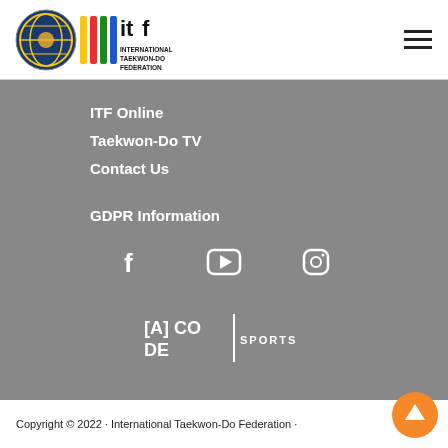[Figure (logo): International Taekwon-Do Federation logo with circular emblem and ITF wordmark]
[Figure (illustration): Hamburger menu icon (three horizontal lines)]
ITF Online
Taekwon-Do TV
Contact Us
GDPR Information
[Figure (illustration): Social media icons: Facebook, YouTube, Instagram]
[Figure (logo): [A] CODE SPORTS logo]
Copyright © 2022 · International Taekwon-Do Federation ·